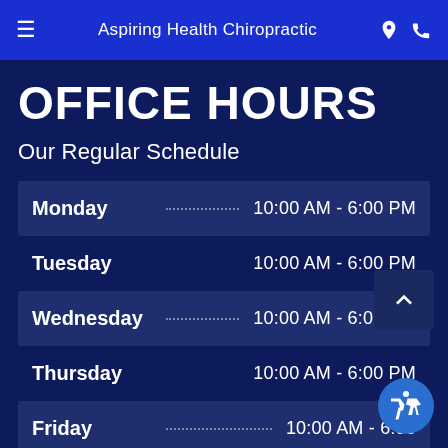Aspiring Health Chiropractic
OFFICE HOURS
Our Regular Schedule
| Day | Hours |
| --- | --- |
| Monday | 10:00 AM - 6:00 PM |
| Tuesday | 10:00 AM - 6:00 PM |
| Wednesday | 10:00 AM - 6:00 PM |
| Thursday | 10:00 AM - 6:00 PM |
| Friday | 10:00 AM - 6:00 PM |